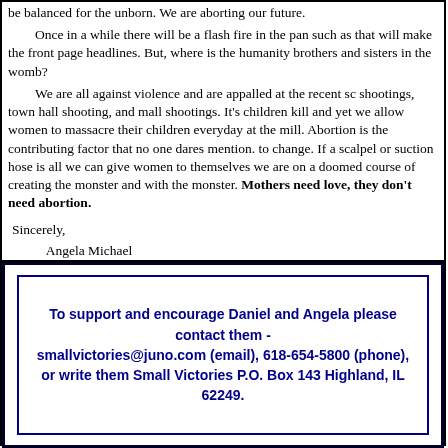be balanced for the unborn. We are aborting our future.

Once in a while there will be a flash fire in the pan such as that will make the front page headlines. But, where is the humanity brothers and sisters in the womb?

We are all against violence and are appalled at the recent sc shootings, town hall shooting, and mall shootings. It's children kill and yet we allow women to massacre their children everyday at the mill. Abortion is the contributing factor that no one dares mention. to change. If a scalpel or suction hose is all we can give women to themselves we are on a doomed course of creating the monster and with the monster. Mothers need love, they don't need abortion.
Sincerely,
Angela Michael
To support and encourage Daniel and Angela please contact them - smallvictories@juno.com (email), 618-654-5800 (phone), or write them Small Victories P.O. Box 143 Highland, IL 62249.